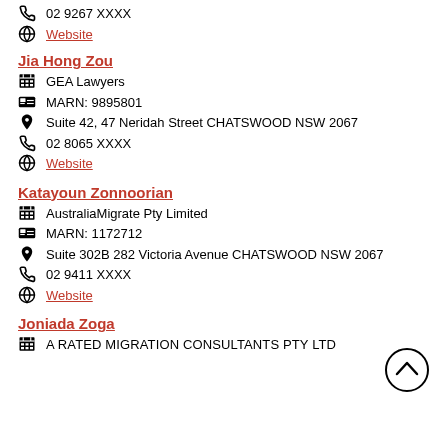02 9267 XXXX
Website
Jia Hong Zou
GEA Lawyers
MARN: 9895801
Suite 42, 47 Neridah Street CHATSWOOD NSW 2067
02 8065 XXXX
Website
Katayoun Zonnoorian
AustraliaMigrate Pty Limited
MARN: 1172712
Suite 302B 282 Victoria Avenue CHATSWOOD NSW 2067
02 9411 XXXX
Website
Joniada Zoga